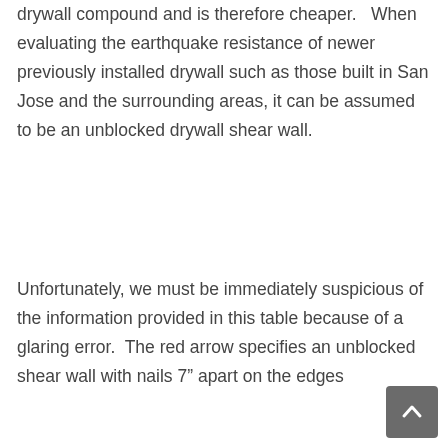drywall compound and is therefore cheaper.   When evaluating the earthquake resistance of newer previously installed drywall such as those built in San Jose and the surrounding areas, it can be assumed to be an unblocked drywall shear wall.
Unfortunately, we must be immediately suspicious of the information provided in this table because of a glaring error.  The red arrow specifies an unblocked shear wall with nails 7" apart on the edges